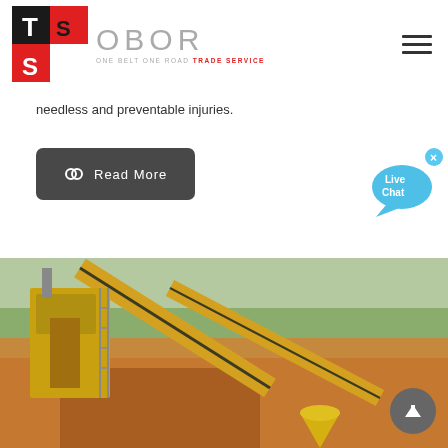OBOR - ONE BELT ONE ROAD TRADE SERVICE logo and navigation
needless and preventable injuries.
Read More
[Figure (photo): Mining or quarrying industrial site with yellow heavy machinery, conveyor belts, and excavated earth, with green trees in background]
[Figure (illustration): Live Chat speech bubble widget in blue]